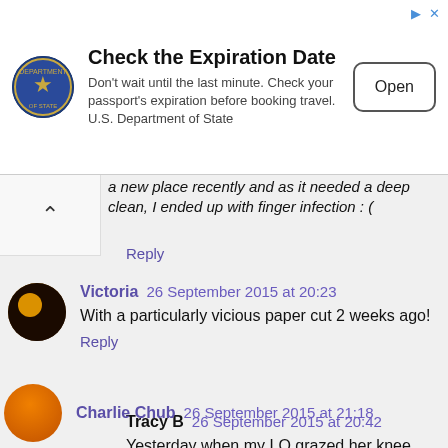[Figure (screenshot): Advertisement banner: U.S. Department of State seal logo on left, bold title 'Check the Expiration Date', body text 'Don't wait until the last minute. Check your passport's expiration before booking travel. U.S. Department of State', with an 'Open' button on the right.]
a new place recently and as it needed a deep clean, I ended up with finger infection : (
Reply
Victoria 26 September 2015 at 20:23
With a particularly vicious paper cut 2 weeks ago!
Reply
Tracy B 26 September 2015 at 20:42
Yesterday when my LO grazed her knee
Reply
Charlie Chub 26 September 2015 at 21:18